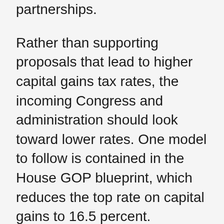partnerships.
Rather than supporting proposals that lead to higher capital gains tax rates, the incoming Congress and administration should look toward lower rates. One model to follow is contained in the House GOP blueprint, which reduces the top rate on capital gains to 16.5 percent.
Today, pro-growth tax reform is needed more than ever. It is imperative that lawmakers prioritize an overhaul of the tax code as well as protect the areas of the current tax